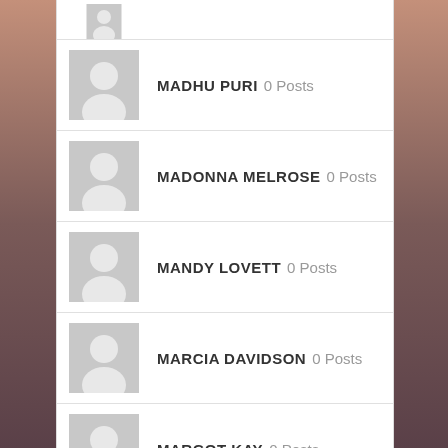(partial avatar)
MADHU PURI 0 Posts
MADONNA MELROSE 0 Posts
MANDY LOVETT 0 Posts
MARCIA DAVIDSON 0 Posts
MARGOT KAY 0 Posts
(partial avatar)